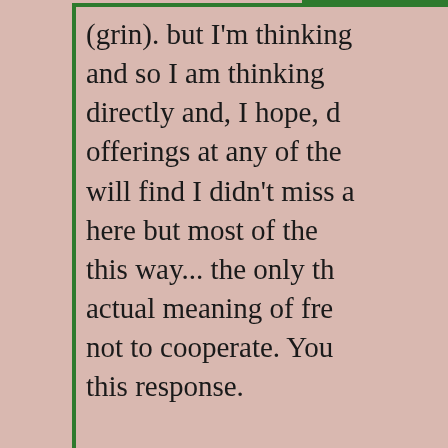(grin). but I'm thinking and so I am thinking directly and, I hope, offerings at any of the will find I didn't miss here but most of the this way... the only th actual meaning of fre not to cooperate. You this response.
Monday, August 02
Anonymous said...
At times you seem to b gettin know what too, wh